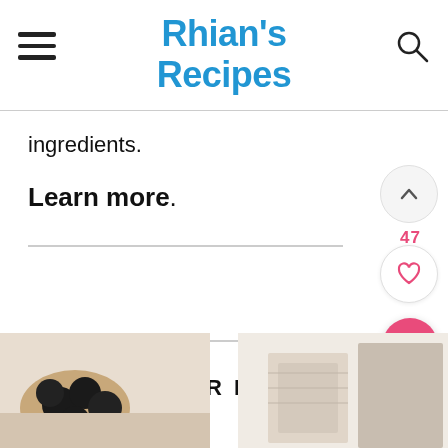Rhian's Recipes
ingredients.
Learn more.
POPULAR RECIPES
[Figure (photo): Food photo thumbnail on the left, dark round objects (possibly truffles or meatballs) in a dish]
[Figure (photo): Food photo thumbnail on the right, light-colored food items]